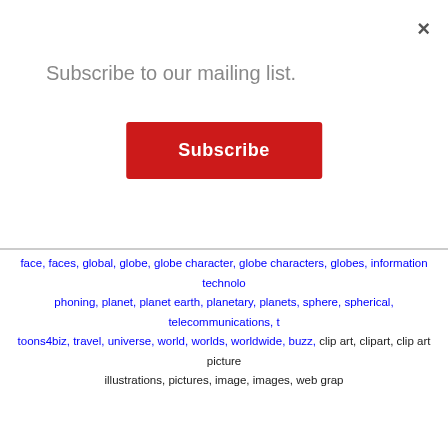×
Subscribe to our mailing list.
Subscribe
face, faces, global, globe, globe character, globe characters, globes, information technology, phoning, planet, planet earth, planetary, planets, sphere, spherical, telecommunications, toons4biz, travel, universe, world, worlds, worldwide, buzz, clip art, clipart, clip art pictures, illustrations, pictures, image, images, web graphics